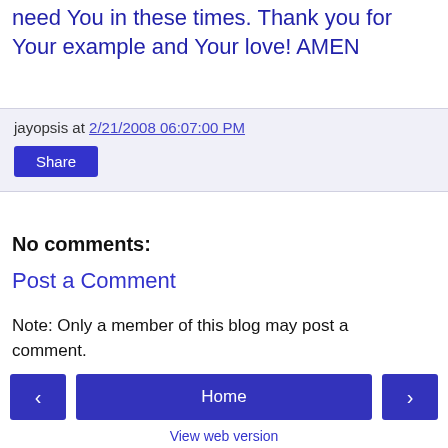need You in these times. Thank you for Your example and Your love! AMEN
jayopsis at 2/21/2008 06:07:00 PM
Share
No comments:
Post a Comment
Note: Only a member of this blog may post a comment.
Home
View web version
Powered by Blogger.